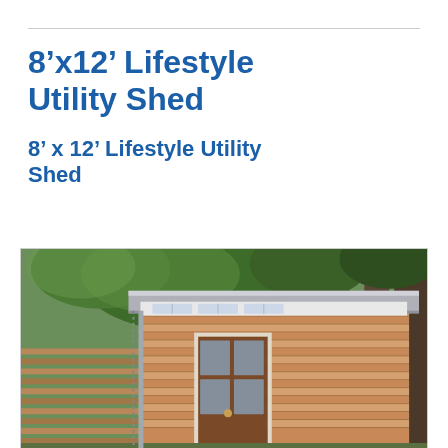8’x12’ Lifestyle Utility Shed
8’ x 12’ Lifestyle Utility Shed
[Figure (photo): Photograph of a modern 8x12 lifestyle utility shed with horizontal cedar wood siding, flat roof with clerestory windows, glass-panel door, surrounded by trees and horizontal wood fence.]